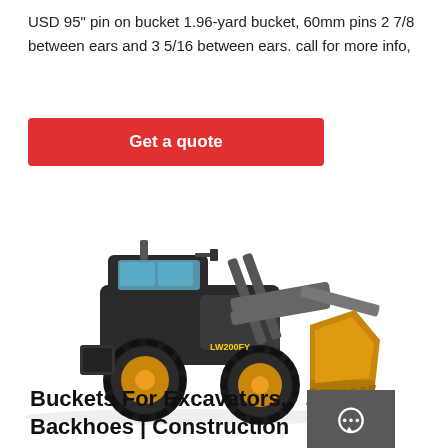USD 95" pin on bucket 1.96-yard bucket, 60mm pins 2 7/8 between ears and 3 5/16 between ears. call for more info,
Get a quote
[Figure (photo): Yellow and black wheel loader construction machine (LW200FY) with a large bucket attachment, facing left, on white background. To the right is a dark grey sidebar with Chat, Email, and Contact icons.]
Buckets For Excavators, Backhoes | Construction